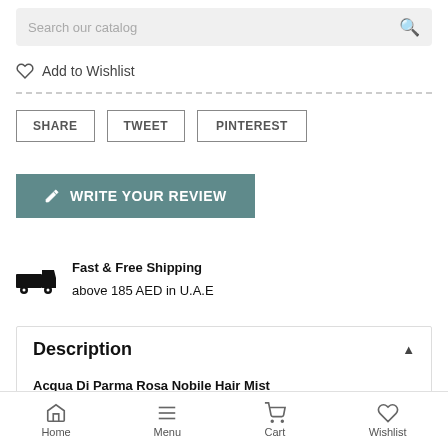Search our catalog
Add to Wishlist
SHARE  TWEET  PINTEREST
WRITE YOUR REVIEW
Fast & Free Shipping
above 185 AED in U.A.E
Description
Acqua Di Parma Rosa Nobile Hair Mist
Home  Menu  Cart  Wishlist